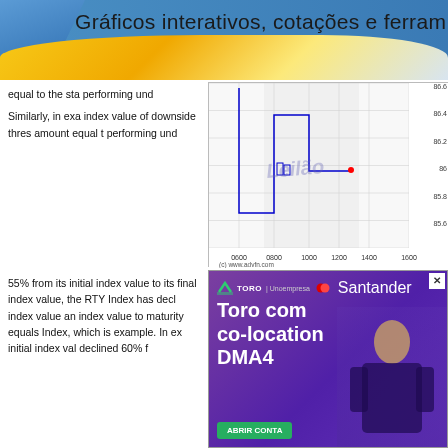Gráficos interativos, cotações e ferram
equal to the sta performing und
[Figure (continuous-plot): Stock or index price chart showing candlestick/step data with 'Leilão' watermark. X-axis shows times: 0600, 0800, 1000, 1200, 1400, 1600. Y-axis shows values from 85.6 to 86.6. Source: (c) www.advfn.com]
Similarly, in exa index value of downside thres amount equal t performing und
55% from its initial index value to its final index value, the RTY Index has decl index value an index value to maturity equals Index, which is example. In ex initial index val declined 60% f
[Figure (infographic): Toro co-location DMA4 advertisement with purple gradient background, Toro Unuempresa Santander logo, and person in background]